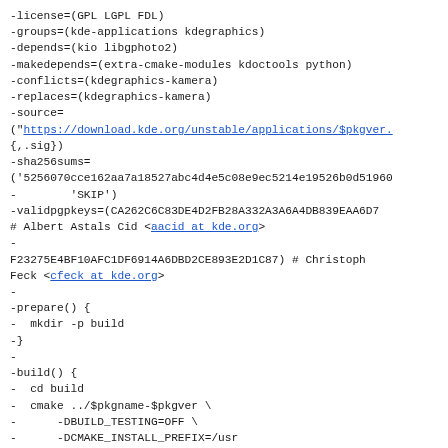-license=(GPL LGPL FDL)
-groups=(kde-applications kdegraphics)
-depends=(kio libgphoto2)
-makedepends=(extra-cmake-modules kdoctools python)
-conflicts=(kdegraphics-kamera)
-replaces=(kdegraphics-kamera)
-source=
("https://download.kde.org/unstable/applications/$pkgver.
{,.sig})
-sha256sums=
('5256070cce162aa7a18527abc4d4e5c08e9ec5214e19526b0d51960
-        'SKIP')
-validpgpkeys=(CA262C6C83DE4D2FB28A332A3A6A4DB839EAA6D7
# Albert Astals Cid <aacid at kde.org>
-
F23275E4BF10AFC1DF6914A6DBD2CE893E2D1C87) # Christoph
Feck <cfeck at kde.org>
-
-prepare() {
-  mkdir -p build
-}
-
-build() {
-  cd build
-  cmake ../$pkgname-$pkgver \
-      -DBUILD_TESTING=OFF \
-      -DCMAKE_INSTALL_PREFIX=/usr
-  make
-}